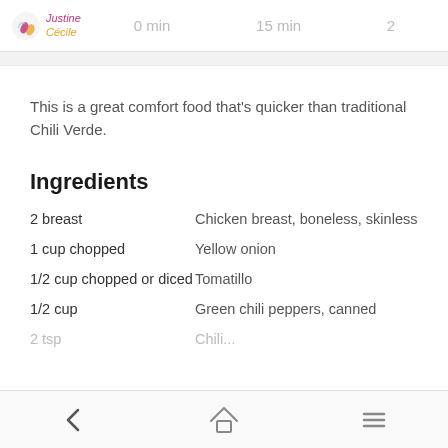Justine Cecile | 0 min | 15 min | 2
This is a great comfort food that's quicker than traditional Chili Verde.
Ingredients
2 breast — Chicken breast, boneless, skinless
1 cup chopped — Yellow onion
1/2 cup chopped or diced — Tomatillo
1/2 cup — Green chili peppers, canned
2 tsp — Chili...
← home menu